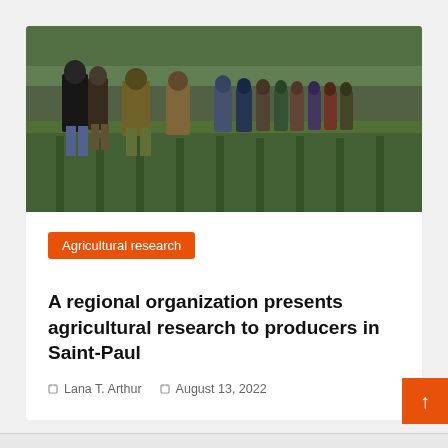[Figure (photo): Group of people standing in a green agricultural field, viewing crops. Multiple adults and children in casual outdoor clothing walking along crop rows.]
Agricultural research
A regional organization presents agricultural research to producers in Saint-Paul
Lana T. Arthur   August 13, 2022